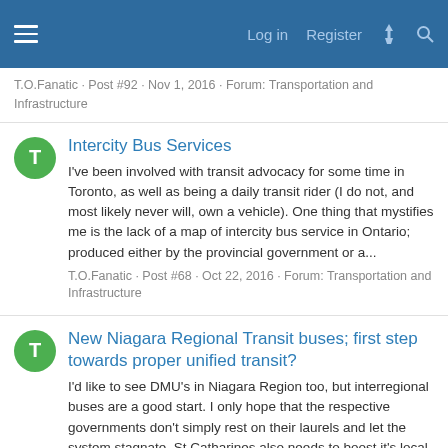Log in  Register
T.O.Fanatic · Post #92 · Nov 1, 2016 · Forum: Transportation and Infrastructure
Intercity Bus Services
I've been involved with transit advocacy for some time in Toronto, as well as being a daily transit rider (I do not, and most likely never will, own a vehicle). One thing that mystifies me is the lack of a map of intercity bus service in Ontario; produced either by the provincial government or a...
T.O.Fanatic · Post #68 · Oct 22, 2016 · Forum: Transportation and Infrastructure
New Niagara Regional Transit buses; first step towards proper unified transit?
I'd like to see DMU's in Niagara Region too, but interregional buses are a good start. I only hope that the respective governments don't simply rest on their laurels and let the system stagnate. St Catharines also needs to boost it's local service in order to allow transit to grow to a...
T.O.Fanatic · Post #17 · Nov 4, 2011 · Forum: Transportation and